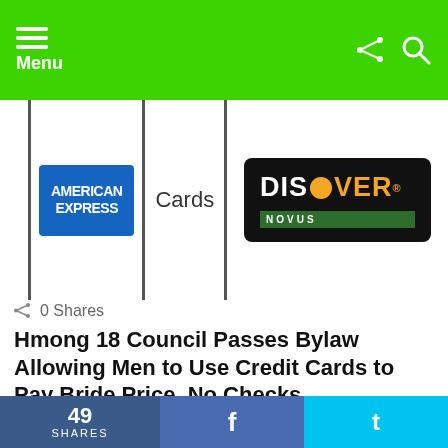Menu
[Figure (photo): American Express and Discover credit cards side by side with 'Cards' text]
0 Shares
Hmong 18 Council Passes Bylaw Allowing Men to Use Credit Cards to Pay Bride Price, No Checks
by Zaub Qaub
7 years ago
49 SHARES  f  t